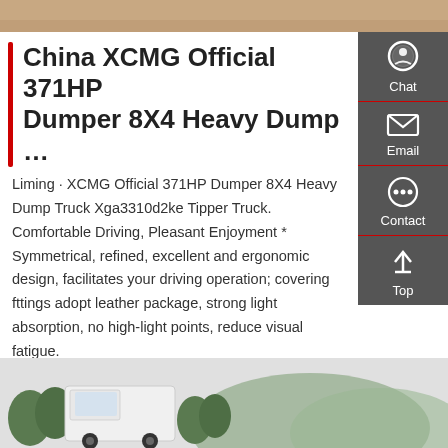[Figure (photo): Top image strip showing sandy/earth-colored surface]
China XCMG Official 371HP Dumper 8X4 Heavy Dump …
Liming · XCMG Official 371HP Dumper 8X4 Heavy Dump Truck Xga3310d2ke Tipper Truck. Comfortable Driving, Pleasant Enjoyment * Symmetrical, refined, excellent and ergonomic design, facilitates your driving operation; covering fttings adopt leather package, strong light absorption, no high-light points, reduce visual fatigue.
[Figure (screenshot): Get a Quote red button]
[Figure (photo): Bottom image showing white dump truck with trees and mountains in background]
[Figure (infographic): Right sidebar with Chat, Email, Contact, and Top navigation icons on dark gray background]